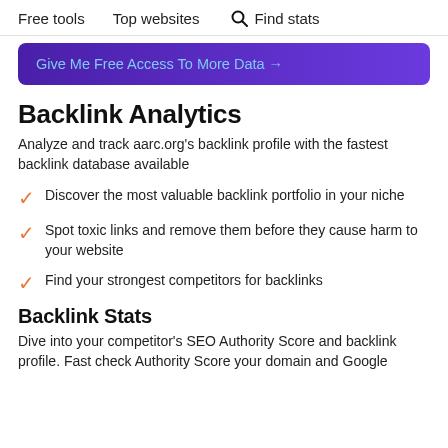Free tools   Top websites   Find stats
Give Me Free Access To More Data →
Backlink Analytics
Analyze and track aarc.org's backlink profile with the fastest backlink database available
Discover the most valuable backlink portfolio in your niche
Spot toxic links and remove them before they cause harm to your website
Find your strongest competitors for backlinks
Backlink Stats
Dive into your competitor's SEO Authority Score and backlink profile. Fast check Authority Score your domain and Google Ranking.